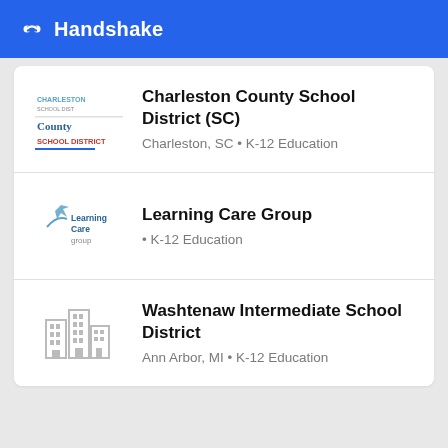Handshake
Charleston County School District (SC)
Charleston, SC • K-12 Education
Learning Care Group
• K-12 Education
Washtenaw Intermediate School District
Ann Arbor, MI • K-12 Education